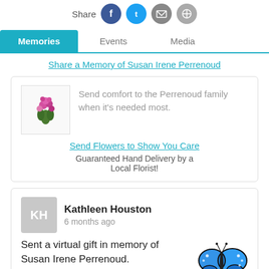[Figure (infographic): Share bar with social icons: Facebook (blue), Twitter (light blue), Email (gray), and another gray icon]
Memories | Events | Media
Share a Memory of Susan Irene Perrenoud
[Figure (illustration): Card with flower bouquet image and text: Send comfort to the Perrenoud family when it's needed most. Link: Send Flowers to Show You Care. Guaranteed Hand Delivery by a Local Florist!]
Kathleen Houston
6 months ago
Sent a virtual gift in memory of Susan Irene Perrenoud.
[Figure (illustration): Blue butterfly illustration]